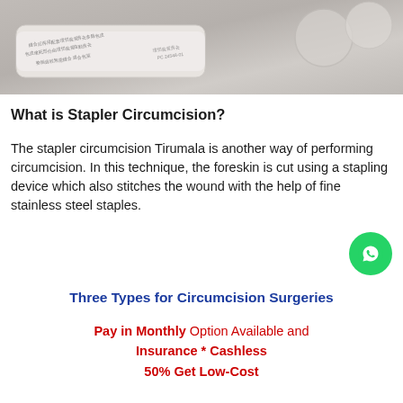[Figure (photo): Photo of a stapler circumcision device - a white plastic medical instrument with circular holes, with Chinese text printed on it, photographed on a light gray surface]
What is Stapler Circumcision?
The stapler circumcision Tirumala is another way of performing circumcision. In this technique, the foreskin is cut using a stapling device which also stitches the wound with the help of fine stainless steel staples.
Three Types for Circumcision Surgeries
Pay in Monthly Option Available and Insurance * Cashless 50% Get Low-Cost